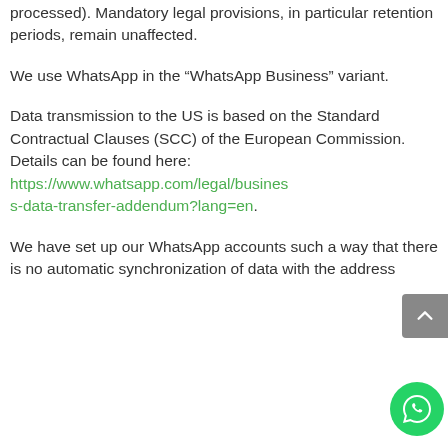processed). Mandatory legal provisions, in particular retention periods, remain unaffected.
We use WhatsApp in the “WhatsApp Business” variant.
Data transmission to the US is based on the Standard Contractual Clauses (SCC) of the European Commission. Details can be found here: https://www.whatsapp.com/legal/business-data-transfer-addendum?lang=en.
We have set up our WhatsApp accounts such a way that there is no automatic synchronization of data with the address